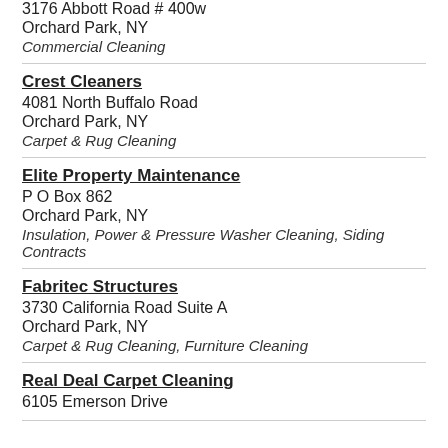3176 Abbott Road # 400w
Orchard Park, NY
Commercial Cleaning
Crest Cleaners
4081 North Buffalo Road
Orchard Park, NY
Carpet & Rug Cleaning
Elite Property Maintenance
P O Box 862
Orchard Park, NY
Insulation, Power & Pressure Washer Cleaning, Siding Contracts
Fabritec Structures
3730 California Road Suite A
Orchard Park, NY
Carpet & Rug Cleaning, Furniture Cleaning
Real Deal Carpet Cleaning
6105 Emerson Drive